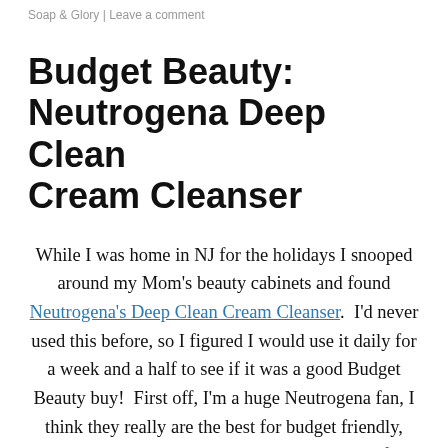Soap & Glory | Leave a comment
Budget Beauty: Neutrogena Deep Clean Cream Cleanser
While I was home in NJ for the holidays I snooped around my Mom's beauty cabinets and found Neutrogena's Deep Clean Cream Cleanser.  I'd never used this before, so I figured I would use it daily for a week and a half to see if it was a good Budget Beauty buy!  First off, I'm a huge Neutrogena fan, I think they really are the best for budget friendly, high quality, products.  I've used a variety of